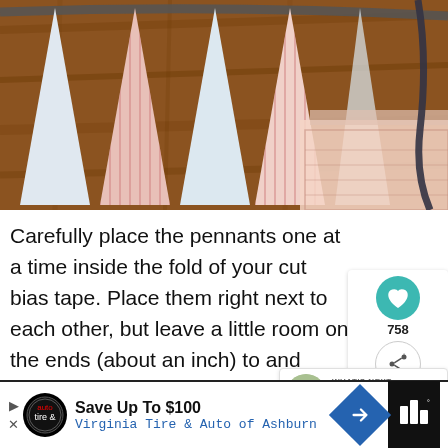[Figure (photo): Overhead view of fabric pennant triangles (white/blue and pink/red patterned) laid out on a wooden surface, with bias tape visible, craft project in progress.]
Carefully place the pennants one at a time inside the fold of your cut bias tape. Place them right next to each other, but leave a little room on the ends (about an inch) to and stitch later.
[Figure (infographic): Social sharing sidebar widget showing a teal heart/save button with count 758, and a share button below.]
WHAT'S NEXT → HOW TO MAKE A...
Save Up To $100
Virginia Tire & Auto of Ashburn